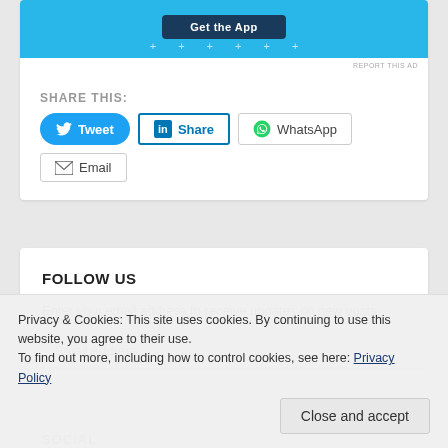[Figure (screenshot): Blue ad banner with dark button and plus signs at bottom]
REPORT THIS AD
SHARE THIS:
Tweet
Share
WhatsApp
Email
FOLLOW US
Enter your email address to receive updates on new posts.
Email Address
Privacy & Cookies: This site uses cookies. By continuing to use this website, you agree to their use.
To find out more, including how to control cookies, see here: Privacy Policy
Close and accept
SOCIAL